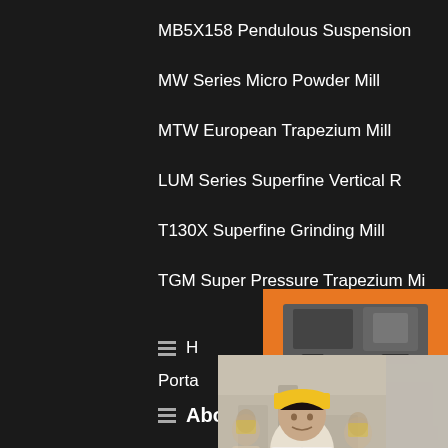MB5X158 Pendulous Suspension
MW Series Micro Powder Mill
MTW European Trapezium Mill
LUM Series Superfine Vertical R
T130X Superfine Grinding Mill
TGM Super Pressure Trapezium Mi
H
Porta
Picadora De Forraje Sertaneja Master
gravel crushers for sale albertatypes of crusher mill
Impact Crusher Mestowashing sand for concr
About us
[Figure (screenshot): Live chat overlay with photo of engineer in hard hat, red LIVE CHAT heading, 'Click for a Free Consultation' subtext, Chat now (red) and Chat later (dark) buttons]
[Figure (photo): Orange side panel with industrial crusher machine images, Enjoy 3% discount in yellow bar, Click to Chat in black bold, Enquiry and limingjlmofen@sina.com contact details]